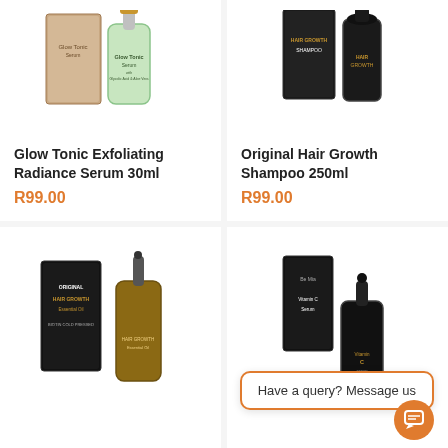[Figure (photo): Glow Tonic Exfoliating Radiance Serum 30ml product image showing box and green bottle with dropper]
Glow Tonic Exfoliating Radiance Serum 30ml
R99.00
[Figure (photo): Original Hair Growth Shampoo 250ml product image showing black box and black bottle]
Original Hair Growth Shampoo 250ml
R99.00
[Figure (photo): Original Hair Growth Serum product image showing dark box and amber bottle with dropper]
[Figure (photo): Vitamin C Serum product image showing black box and bottle]
Have a query? Message us